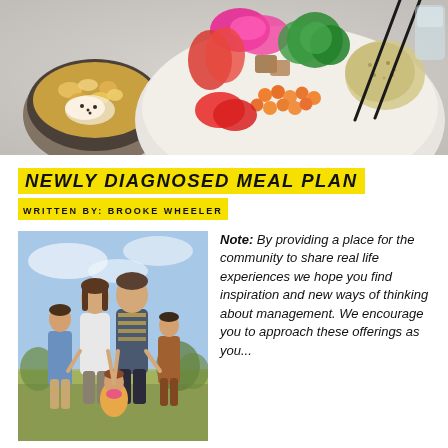[Figure (photo): Colorful food bowls with vegetables, chickpeas, broccoli, radishes, and grains photographed from above on a gray background]
NEWLY DIAGNOSED MEAL PLAN
WRITTEN BY: BROOKE WHEELER
[Figure (photo): A family of five standing outdoors in a field — a man, woman, two boys, and a toddler girl holding hands]
Note: By providing a place for the community to share real life experiences we hope you find inspiration and new ways of thinking about management. We encourage you to approach these offerings as you...